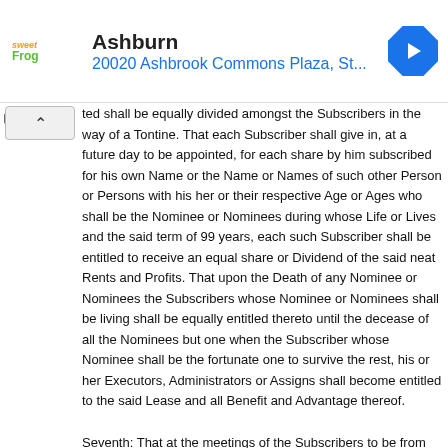[Figure (other): Advertisement banner for sweetFrog Ashburn location showing logo, business name, address '20020 Ashbrook Commons Plaza, St...' and a blue navigation arrow icon]
ted shall be equally divided amongst the Subscribers in the way of a Tontine. That each Subscriber shall give in, at a future day to be appointed, for each share by him subscribed for his own Name or the Name or Names of such other Person or Persons with his her or their respective Age or Ages who shall be the Nominee or Nominees during whose Life or Lives and the said term of 99 years, each such Subscriber shall be entitled to receive an equal share or Dividend of the said neat Rents and Profits. That upon the Death of any Nominee or Nominees the Subscribers whose Nominee or Nominees shall be living shall be equally entitled thereto until the decease of all the Nominees but one when the Subscriber whose Nominee shall be the fortunate one to survive the rest, his or her Executors, Administrators or Assigns shall become entitled to the said Lease and all Benefit and Advantage thereof.
Seventh: That at the meetings of the Subscribers to be from time to time called such further Orders and Regulations be made and adopted as